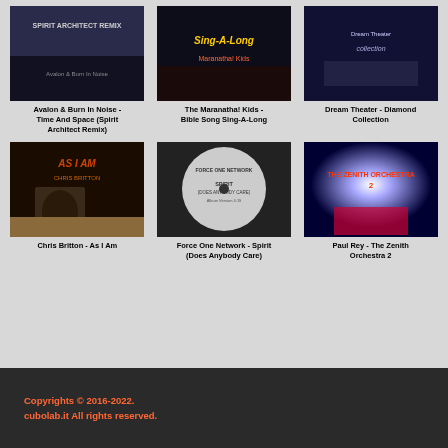[Figure (screenshot): Album cover for Avalon & Burn In Noise - Time And Space (Spirit Architect Remix), dark background with text 'Spirit Architect Remix']
Avalon & Burn In Noise - Time And Space (Spirit Architect Remix)
[Figure (screenshot): Album cover for The Maranatha! Kids - Bible Song Sing-A-Long, colorful text on dark background]
The Maranatha! Kids - Bible Song Sing-A-Long
[Figure (screenshot): Album cover for Dream Theater - Diamond Collection]
Dream Theater - Diamond Collection
[Figure (screenshot): Album cover for Chris Britton - As I Am, showing a person crouching in a field]
Chris Britton - As I Am
[Figure (screenshot): Album cover for Force One Network - Spirit (Does Anybody Care), showing a vinyl record label]
Force One Network - Spirit (Does Anybody Care)
[Figure (screenshot): Album cover for Paul Rey - The Zenith Orchestra 2, showing a bright starburst light effect]
Paul Rey - The Zenith Orchestra 2
Copyrights © 2016-2022. cubolab.it All rights reserved.